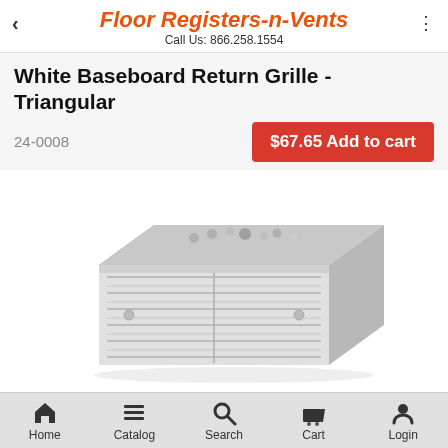Floor Registers-n-Vents
Call Us: 866.258.1554
White Baseboard Return Grille - Triangular
24-0008
$67.65 Add to cart
[Figure (photo): White triangular baseboard return grille product photo showing a white metal grille with a triangular cross-section profile and horizontal slats]
More Images
Size : 30 x 8
Home   Catalog   Search   Cart   Login